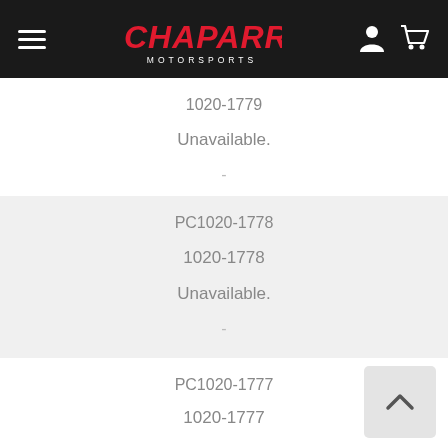Chaparral Motorsports
1020-1779
Unavailable.
-
PC1020-1778
1020-1778
Unavailable.
-
PC1020-1777
1020-1777